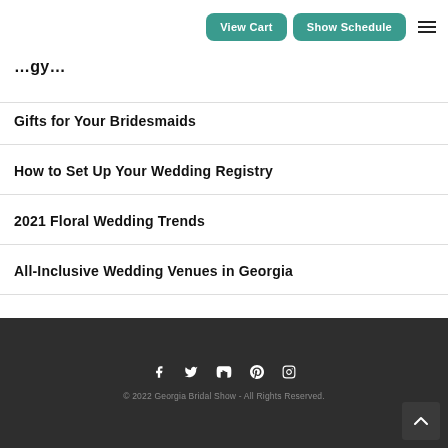View Cart | Show Schedule
…gy…
Gifts for Your Bridesmaids
How to Set Up Your Wedding Registry
2021 Floral Wedding Trends
All-Inclusive Wedding Venues in Georgia
© 2022 Georgia Bridal Show - All Rights Reserved.